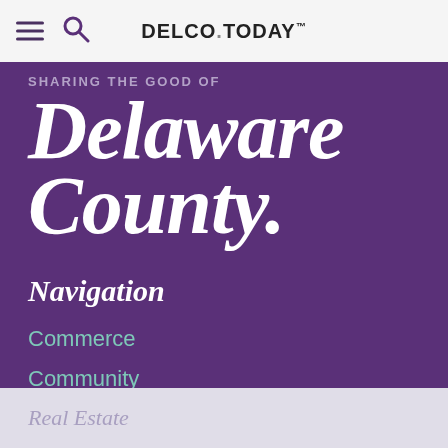DELCO.TODAY
SHARING THE GOOD OF
Delaware County.
Navigation
Commerce
Community
Culture
Real Estate